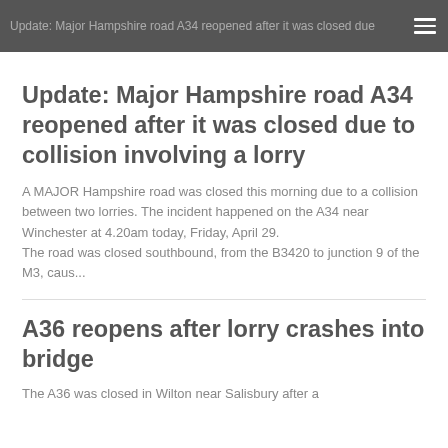Update: Major Hampshire road A34 reopened after it was closed due to...
Update: Major Hampshire road A34 reopened after it was closed due to collision involving a lorry
A MAJOR Hampshire road was closed this morning due to a collision between two lorries. The incident happened on the A34 near Winchester at 4.20am today, Friday, April 29.
The road was closed southbound, from the B3420 to junction 9 of the M3, caus...
A36 reopens after lorry crashes into bridge
The A36 was closed in Wilton near Salisbury after a